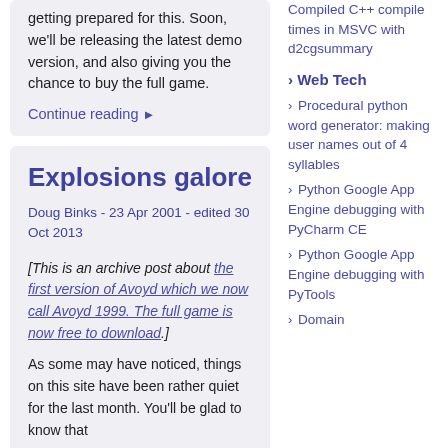getting prepared for this. Soon, we'll be releasing the latest demo version, and also giving you the chance to buy the full game.
Continue reading ▶
Explosions galore
Doug Binks - 23 Apr 2001 - edited 30 Oct 2013
[This is an archive post about the first version of Avoyd which we now call Avoyd 1999. The full game is now free to download.]
As some may have noticed, things on this site have been rather quiet for the last month. You'll be glad to know that
Compiled C++ compile times in MSVC with d2cgsummary
› Web Tech
› Procedural python word generator: making user names out of 4 syllables
› Python Google App Engine debugging with PyCharm CE
› Python Google App Engine debugging with PyTools
› Domain